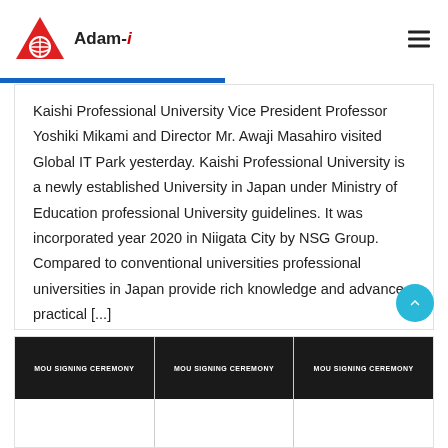Adam-i
Kaishi Professional University Vice President Professor Yoshiki Mikami and Director Mr. Awaji Masahiro visited Global IT Park yesterday. Kaishi Professional University is a newly established University in Japan under Ministry of Education professional University guidelines. It was incorporated year 2020 in Niigata City by NSG Group. Compared to conventional universities professional universities in Japan provide rich knowledge and advance practical [...]
GIT Park Minami Uonuma   News and Events   0   25 sec read
[Figure (photo): Three MOU Signing Ceremony preview images at the bottom of the page]